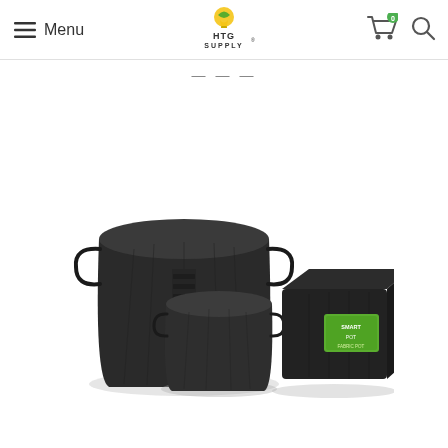Menu | HTG Supply | Cart (0) | Search
Fabric Pots
[Figure (photo): Product photo showing three black fabric grow pots/bags of different sizes and shapes: a large round fabric pot with handles on the left, a medium round fabric pot in the center-front, and a rectangular black planter box with a green label on the right.]